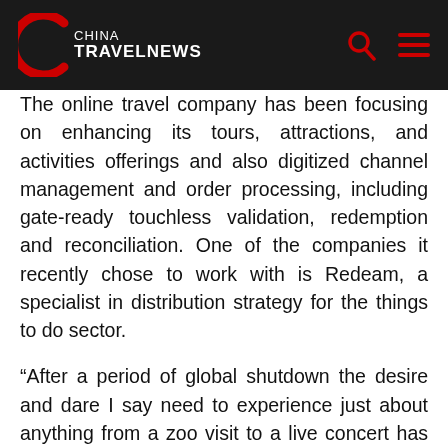China TravelNews
The online travel company has been focusing on enhancing its tours, attractions, and activities offerings and also digitized channel management and order processing, including gate-ready touchless validation, redemption and reconciliation. One of the companies it recently chose to work with is Redeam, a specialist in distribution strategy for the things to do sector.
“After a period of global shutdown the desire and dare I say need to experience just about anything from a zoo visit to a live concert has become a contributing factor to people feeling confident to leave the safety of their homes. There has been an insatiable need from the public to get out and do something on their